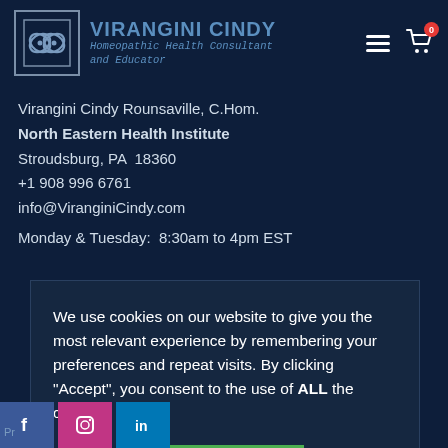[Figure (logo): Virangini Cindy logo with infinity/knot symbol in box and brand name]
Virangini Cindy Rounsaville, C.Hom.
North Eastern Health Institute
Stroudsburg, PA  18360
+1 908 996 6761
info@ViranginiCindy.com
Monday & Tuesday:  8:30am to 4pm EST
We use cookies on our website to give you the most relevant experience by remembering your preferences and repeat visits. By clicking “Accept”, you consent to the use of ALL the cookies.
Cookie settings
ACCEPT